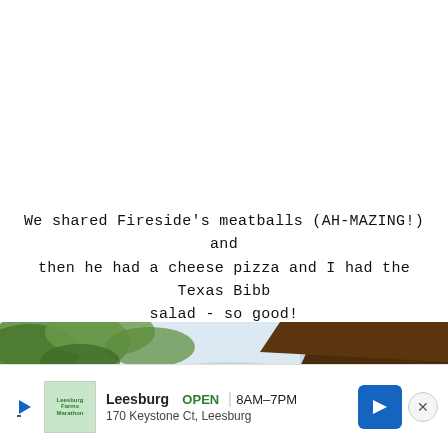We shared Fireside's meatballs (AH-MAZING!) and then he had a cheese pizza and I had the Texas Bibb salad - so good!
[Figure (photo): Outdoor photo showing tree branches with green leaves against a bright sky, with dark brown wooden architectural elements (roof/overhang) visible in the foreground and lower portion.]
Leesburg  OPEN  8AM–7PM  170 Keystone Ct, Leesburg